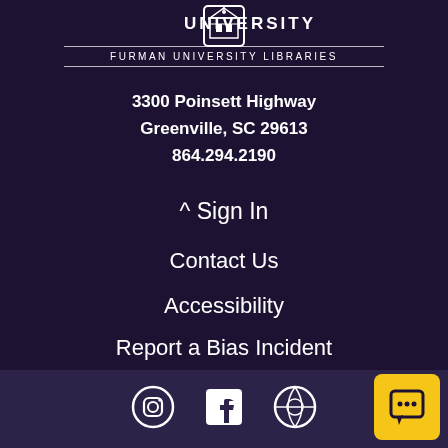[Figure (logo): Furman University shield logo with building icon]
FURMAN UNIVERSITY
FURMAN UNIVERSITY LIBRARIES
3300 Poinsett Highway
Greenville, SC 29613
864.294.2190
^ Sign In
Contact Us
Accessibility
Report a Bias Incident
University Home Page
[Figure (logo): Instagram icon]
[Figure (logo): Facebook icon]
[Figure (logo): WordPress icon]
[Figure (other): Yellow chat button with speech bubble icon]